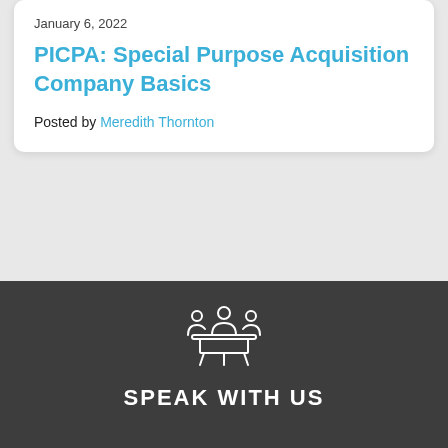January 6, 2022
PICPA: Special Purpose Acquisition Company Basics
Posted by Meredith Thornton
[Figure (illustration): White outline icon of three people seated at a table in a meeting, on dark gray background]
SPEAK WITH US